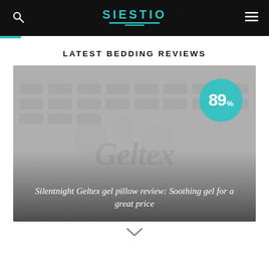Siestio
LATEST BEDDING REVIEWS
[Figure (photo): Close-up photo of a gray textured foam pillow or mattress with embossed Geltex branding, showing gel foam texture pattern. A teal circular badge in the upper right shows the score 89%.]
Silentnight Geltex gel pillow review: Soothing gel for a great price